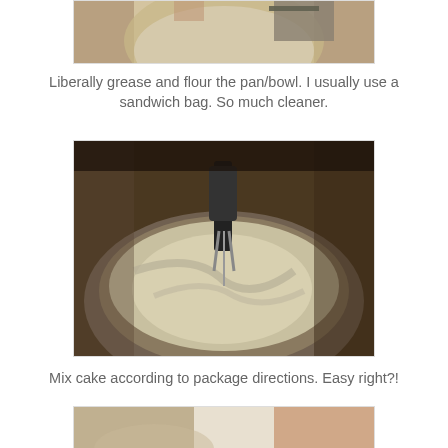[Figure (photo): Top portion of a glass bowl with hands and utensils visible, cropped at top of page]
Liberally grease and flour the pan/bowl. I usually use a sandwich bag. So much cleaner.
[Figure (photo): A metal mixing bowl with cake batter being mixed by an electric hand mixer]
Mix cake according to package directions. Easy right?!
[Figure (photo): Partial view of another cooking step, cropped at bottom of page]